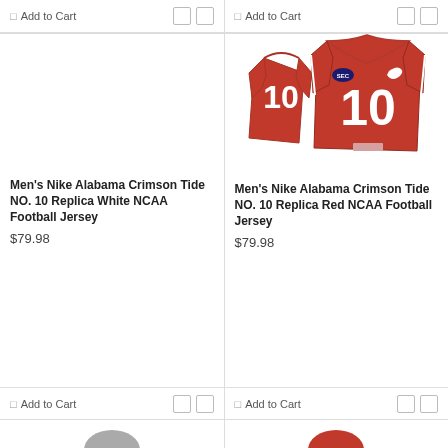Add to Cart
Add to Cart
[Figure (photo): Empty white product image area for Men's Nike Alabama Crimson Tide NO. 10 Replica White NCAA Football Jersey]
[Figure (photo): Red Alabama Crimson Tide NO. 10 Nike replica football jersey displayed front and back, showing number 10 in white, SEC patch, and Nike swoosh]
Men's Nike Alabama Crimson Tide NO. 10 Replica White NCAA Football Jersey
$79.98
Men's Nike Alabama Crimson Tide NO. 10 Replica Red NCAA Football Jersey
$79.98
Add to Cart
Add to Cart